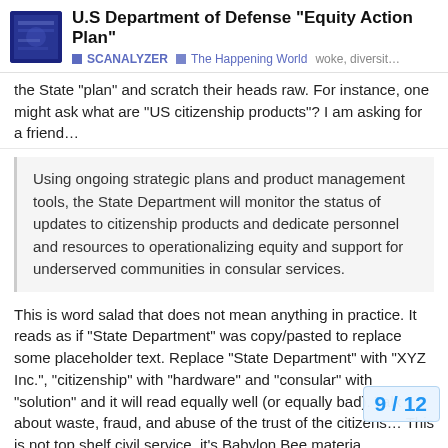U.S Department of Defense “Equity Action Plan” ■ SCANALYZER ■ The Happening World woke, diversit…
the State “plan” and scratch their heads raw. For instance, one might ask what are “US citizenship products”? I am asking for a friend…
Using ongoing strategic plans and product management tools, the State Department will monitor the status of updates to citizenship products and dedicate personnel and resources to operationalizing equity and support for underserved communities in consular services.
This is word salad that does not mean anything in practice. It reads as if “State Department” was copy/pasted to replace some placeholder text. Replace “State Department” with “XYZ Inc.”, “citizenship” with “hardware” and “consular” with “solution” and it will read equally well (or equally bad). Talk about waste, fraud, and abuse of the trust of the citizens… This is not top shelf civil service, it’s Babylon Bee materia
9 / 12